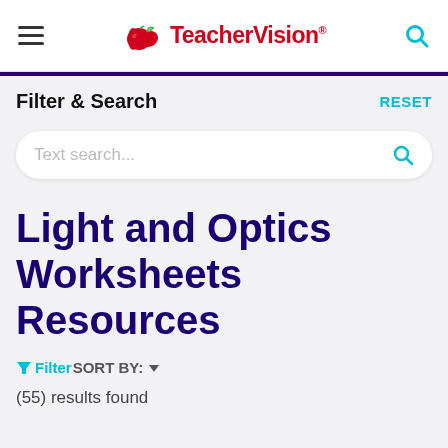TeacherVision
Filter & Search
RESET
Text search...
Light and Optics Worksheets Resources
Filter SORT BY:
(55) results found